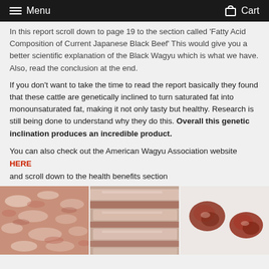Menu   Cart
In this report scroll down to page 19 to the section called 'Fatty Acid Composition of Current Japanese Black Beef' This would give you a better scientific explanation of the Black Wagyu which is what we have. Also, read the conclusion at the end.
If you don't want to take the time to read the report basically they found that these cattle are genetically inclined to turn saturated fat into monounsaturated fat, making it not only tasty but healthy. Research is still being done to understand why they do this. Overall this genetic inclination produces an incredible product.
You can also check out the American Wagyu Association website HERE
and scroll down to the health benefits section
[Figure (photo): Three photos of Wagyu beef: left shows highly marbled raw beef cross-section, center shows layered beef strips, right shows cut beef chunks on white paper]